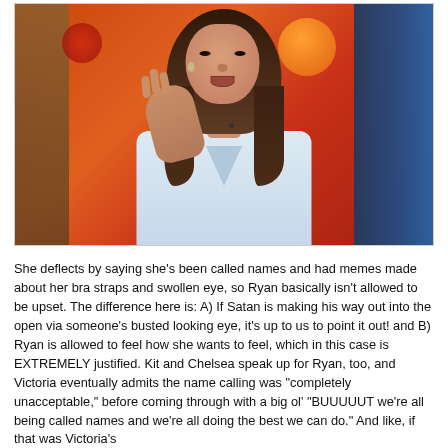[Figure (photo): A woman with long brown hair wearing a light blue/grey button-up shirt, gesturing with her right hand raised. She appears to be speaking. Background shows orange/red and blue colors with other people partially visible on either side. Appears to be a TV show setting.]
She deflects by saying she's been called names and had memes made about her bra straps and swollen eye, so Ryan basically isn't allowed to be upset. The difference here is: A) If Satan is making his way out into the open via someone's busted looking eye, it's up to us to point it out! and B) Ryan is allowed to feel how she wants to feel, which in this case is EXTREMELY justified. Kit and Chelsea speak up for Ryan, too, and Victoria eventually admits the name calling was "completely unacceptable," before coming through with a big ol' "BUUUUUT we're all being called names and we're all doing the best we can do." And like, if that was Victoria's